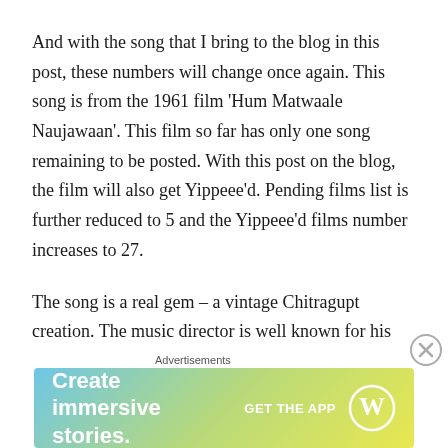And with the song that I bring to the blog in this post, these numbers will change once again. This song is from the 1961 film 'Hum Matwaale Naujawaan'. This film so far has only one song remaining to be posted. With this post on the blog, the film will also get Yippeee'd. Pending films list is further reduced to 5 and the Yippeee'd films number increases to 27.
The song is a real gem – a vintage Chitragupt creation. The music director is well known for his melodious commpositions. And this song is a very fine example of his creativity and talent. I listened to this song today, after tons of years, jiggling my memory of the radio listening days. And I am surprised that this melody has been waiting in
[Figure (other): WordPress advertisement banner: 'Create immersive stories. GET THE APP' with WordPress logo]